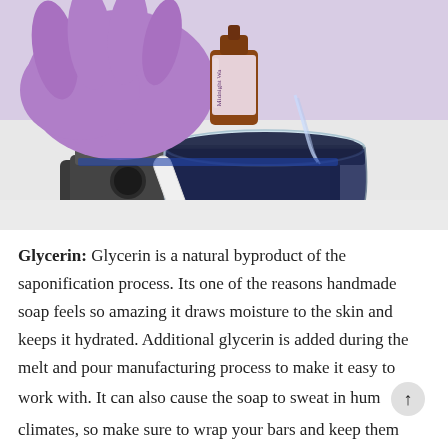[Figure (photo): A purple-gloved hand holding a small amber glass bottle labeled 'Midnight Water' being poured into a dark blue liquid in a clear plastic measuring cup sitting on a digital kitchen scale. A white stir stick rests across the cup.]
Glycerin: Glycerin is a natural byproduct of the saponification process. Its one of the reasons handmade soap feels so amazing it draws moisture to the skin and keeps it hydrated. Additional glycerin is added during the melt and pour manufacturing process to make it easy to work with. It can also cause the soap to sweat in humid climates, so make sure to wrap your bars and keep them